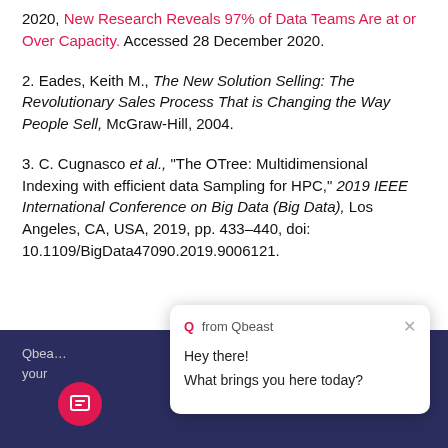2020, New Research Reveals 97% of Data Teams Are at or Over Capacity. Accessed 28 December 2020.
2. Eades, Keith M., The New Solution Selling: The Revolutionary Sales Process That is Changing the Way People Sell, McGraw-Hill, 2004.
3. C. Cugnasco et al., "The OTree: Multidimensional Indexing with efficient data Sampling for HPC," 2019 IEEE International Conference on Big Data (Big Data), Los Angeles, CA, USA, 2019, pp. 433-440, doi: 10.1109/BigData47090.2019.9006121.
Qbeast ... settings of your ... Cookie Policy
Q from Qbeast
Hey there!
What brings you here today?